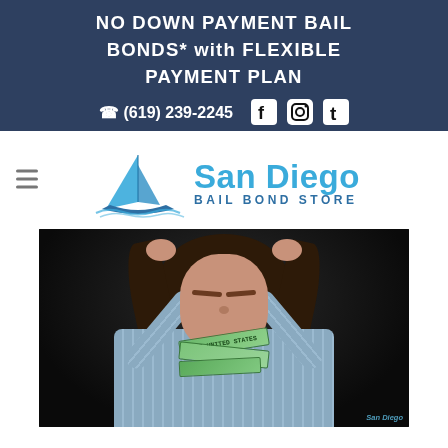NO DOWN PAYMENT BAIL BONDS* with FLEXIBLE PAYMENT PLAN
☎ (619) 239-2245
[Figure (logo): San Diego Bail Bond Store logo with sailboat graphic and blue text]
[Figure (photo): Woman in blue striped shirt pulling her hair in stress, holding money bills in her mouth, against dark background. San Diego Bail Bond Store watermark in bottom right.]